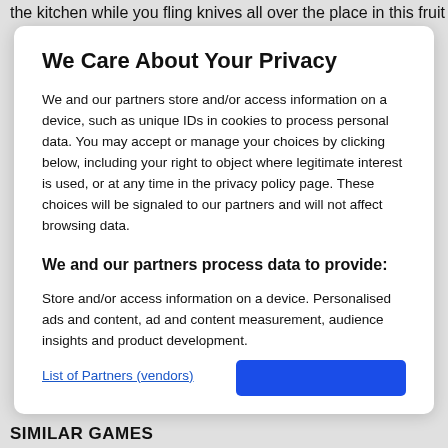the kitchen while you fling knives all over the place in this fruit
We Care About Your Privacy
We and our partners store and/or access information on a device, such as unique IDs in cookies to process personal data. You may accept or manage your choices by clicking below, including your right to object where legitimate interest is used, or at any time in the privacy policy page. These choices will be signaled to our partners and will not affect browsing data.
We and our partners process data to provide:
Store and/or access information on a device. Personalised ads and content, ad and content measurement, audience insights and product development.
List of Partners (vendors)
SIMILAR GAMES